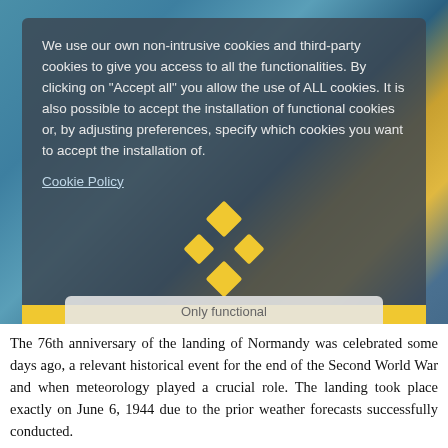[Figure (screenshot): Cookie consent overlay on a website showing a background image of a person holding a tablet with weather/map content. Contains cookie notice text, diamond-shaped brand icons in yellow, an Accept all button, and overlapping sub-options for Only functional and View Preferences.]
We use our own non-intrusive cookies and third-party cookies to give you access to all the functionalities. By clicking on "Accept all" you allow the use of ALL cookies. It is also possible to accept the installation of functional cookies or, by adjusting preferences, specify which cookies you want to accept the installation of.
Cookie Policy
Accept all
Only functional
View Preferences
The 76th anniversary of the landing of Normandy was celebrated some days ago, a relevant historical event for the end of the Second World War and when meteorology played a crucial role. The landing took place exactly on June 6, 1944 due to the prior weather forecasts successfully conducted.